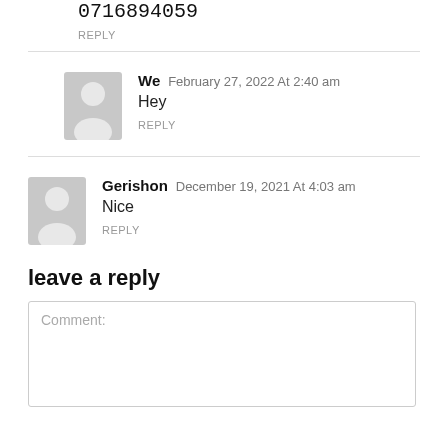0716894059
REPLY
We February 27, 2022 At 2:40 am
Hey
REPLY
Gerishon December 19, 2021 At 4:03 am
Nice
REPLY
leave a reply
Comment: